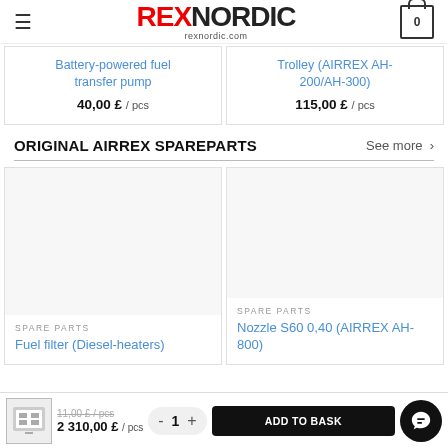REX NORDIC rexnordic.com
Battery-powered fuel transfer pump
40,00 £ / pcs
Trolley (AIRREX AH-200/AH-300)
115,00 £ / pcs
ORIGINAL AIRREX SPAREPARTS
See more >
SPARE PARTS
Fuel filter (Diesel-heaters)
SPARE PARTS
Nozzle S60 0,40 (AIRREX AH-800)
11,00 £ / pcs
2 310,00 £ / pcs